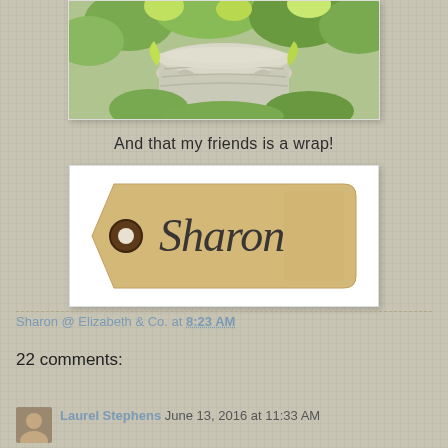[Figure (photo): Photo of a stone garden urn/planter surrounded by green leafy plants]
And that my friends is a wrap!
[Figure (illustration): A tag/label graphic with cursive text reading 'Sharon' in dark grey on a tan/kraft background with a circle hole punch]
Sharon @ Elizabeth & Co. at 8:23 AM
22 comments:
Laurel Stephens June 13, 2016 at 11:33 AM